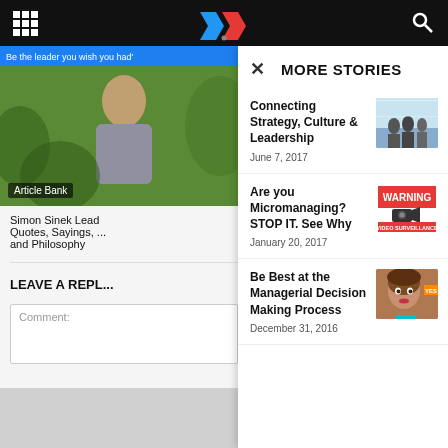MORE STORIES
MORE STORIES
Connecting Strategy, Culture & Leadership
June 7, 2017
Are you Micromanaging? STOP IT. See Why
January 20, 2017
Be Best at the Managerial Decision Making Process
December 31, 2016
Simon Sinek Lead Quotes, Sayings, and Philosophy
Article Bank
LEAVE A REPLY
Comment: